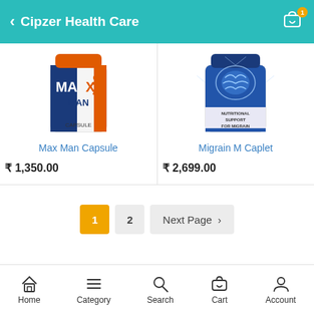Cipzer Health Care
[Figure (photo): Max Man Capsule product image — white bottle with blue, orange and red design, text MAX MAN CAPSULE]
Max Man Capsule
₹ 1,350.00
[Figure (photo): Migrain M Caplet product image — white bottle with blue brain graphic and text NUTRITIONAL SUPPORT FOR MIGRAIN]
Migrain M Caplet
₹ 2,699.00
1 (current page, active)
2
Next Page >
Home  Category  Search  Cart  Account